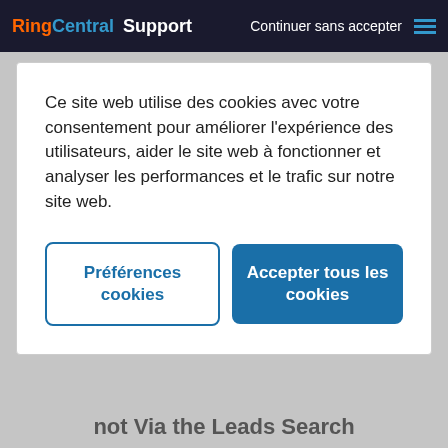RingCentral Support   Continuer sans accepter
Ce site web utilise des cookies avec votre consentement pour améliorer l'expérience des utilisateurs, aider le site web à fonctionner et analyser les performances et le trafic sur notre site web.
Préférences cookies
Accepter tous les cookies
not Via the Leads Search